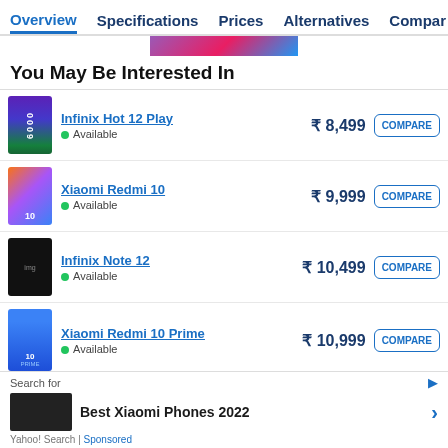Overview  Specifications  Prices  Alternatives  Compar
You May Be Interested In
Infinix Hot 12 Play • Available  ₹ 8,499  COMPARE
Xiaomi Redmi 10 • Available  ₹ 9,999  COMPARE
Infinix Note 12 • Available  ₹ 10,499  COMPARE
Xiaomi Redmi 10 Prime • Available  ₹ 10,999  COMPARE
Realme C30  ₹ 6,899  COMPARE
Search for  Best Xiaomi Phones 2022  Yahoo! Search | Sponsored